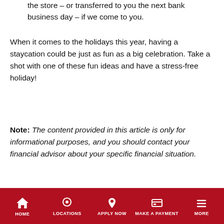the store – or transferred to you the next bank business day – if we come to you.
When it comes to the holidays this year, having a staycation could be just as fun as a big celebration. Take a shot with one of these fun ideas and have a stress-free holiday!
Note: The content provided in this article is only for informational purposes, and you should contact your financial advisor about your specific financial situation.
Holidays
[Figure (photo): Partial view of a woman with curly dark hair, cropped at the bottom of the page]
HOME | LOCATIONS | APPLY NOW | MAKE A PAYMENT | MORE